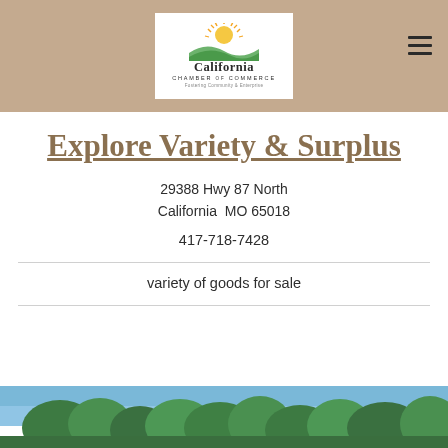[Figure (logo): California Chamber of Commerce logo — sun above hills with text 'California CHAMBER of COMMERCE Fostering Community & Enterprise']
Explore Variety & Surplus
29388 Hwy 87 North
California  MO 65018
417-718-7428
variety of goods for sale
[Figure (photo): Outdoor photo showing trees against a blue sky — partially visible at the bottom of the page]